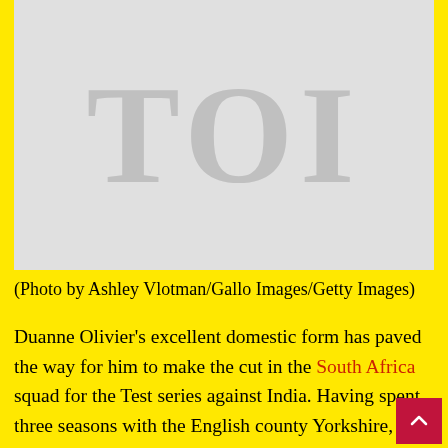[Figure (photo): Placeholder image with 'TOI' text in large gray letters on a light gray background]
(Photo by Ashley Vlotman/Gallo Images/Getty Images)
Duanne Olivier's excellent domestic form has paved the way for him to make the cut in the South Africa squad for the Test series against India. Having spent three seasons with the English county Yorkshire, the 29-year-old pacer made a remarkable return to the South Africa domestic circuit this season. He has taken 28